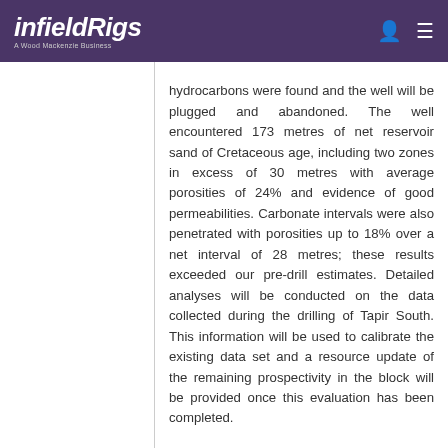infieldRigs — A Wood Mackenzie Business
hydrocarbons were found and the well will be plugged and abandoned. The well encountered 173 metres of net reservoir sand of Cretaceous age, including two zones in excess of 30 metres with average porosities of 24% and evidence of good permeabilities. Carbonate intervals were also penetrated with porosities up to 18% over a net interval of 28 metres; these results exceeded our pre-drill estimates. Detailed analyses will be conducted on the data collected during the drilling of Tapir South. This information will be used to calibrate the existing data set and a resource update of the remaining prospectivity in the block will be provided once this evaluation has been completed.
African Petroleum contracts 'Maersk Deliverer' for Liberia drilling
West African focused oil and gas exploration company, African Petroleum Corporation Limited